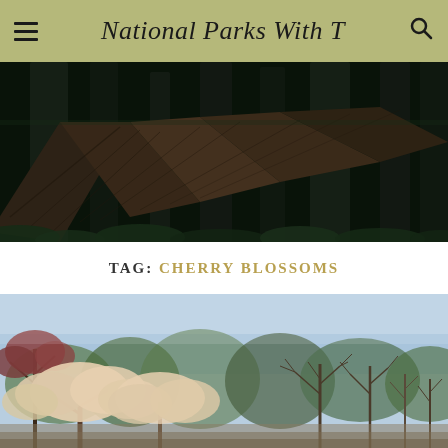National Parks With T
[Figure (photo): Dark forest with large fallen redwood log crossing diagonally, ferns and tall redwood trees in background]
TAG: CHERRY BLOSSOMS
[Figure (photo): Cherry blossom trees with light pink flowers along a path, bare trees and blue sky in background]